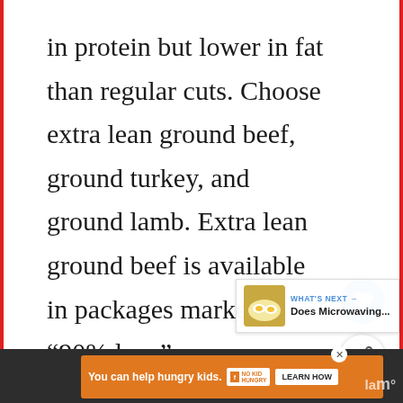in protein but lower in fat than regular cuts. Choose extra lean ground beef, ground turkey, and ground lamb. Extra lean ground beef is available in packages marked “90% lean” o
[Figure (screenshot): UI overlay with heart/favorite button (blue circle with white heart icon) and share button (white circle with share icon)]
[Figure (screenshot): What's Next panel showing fried eggs thumbnail and text 'Does Microwaving...']
[Figure (screenshot): Bottom advertisement banner: orange background, 'You can help hungry kids.' with No Kid Hungry logo and Learn How button. Dark bottom bar with lawo logo.]